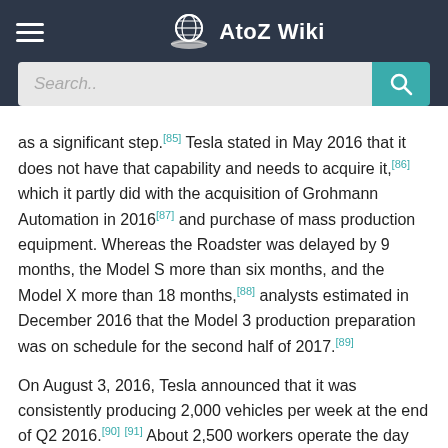AtoZ Wiki
as a significant step.[85] Tesla stated in May 2016 that it does not have that capability and needs to acquire it,[86] which it partly did with the acquisition of Grohmann Automation in 2016[87] and purchase of mass production equipment. Whereas the Roadster was delayed by 9 months, the Model S more than six months, and the Model X more than 18 months,[88] analysts estimated in December 2016 that the Model 3 production preparation was on schedule for the second half of 2017.[89]
On August 3, 2016, Tesla announced that it was consistently producing 2,000 vehicles per week at the end of Q2 2016.[90] [91] About 2,500 workers operate the day shift and 2,000 attend the night shift.[43]
Tesla makes many parts itself, which is unusual in the auto business. Tesla also works with 300 suppliers around the world,